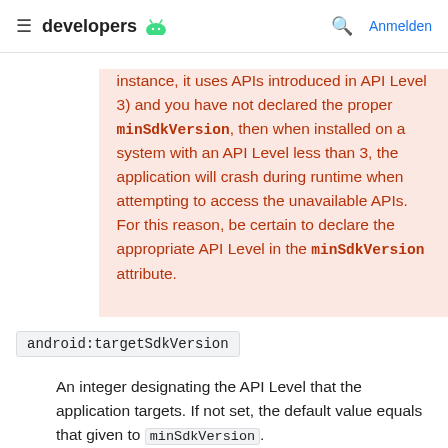≡  developers 🤖   🔍  Anmelden
instance, it uses APIs introduced in API Level 3) and you have not declared the proper minSdkVersion, then when installed on a system with an API Level less than 3, the application will crash during runtime when attempting to access the unavailable APIs. For this reason, be certain to declare the appropriate API Level in the minSdkVersion attribute.
android:targetSdkVersion
An integer designating the API Level that the application targets. If not set, the default value equals that given to minSdkVersion.
This attribute informs the system that you have